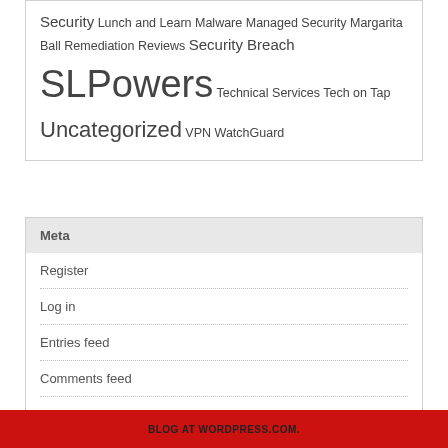Security Lunch and Learn Malware Managed Security Margarita Ball Remediation Reviews Security Breach SLPowers Technical Services Tech on Tap Uncategorized VPN WatchGuard
Meta
Register
Log in
Entries feed
Comments feed
WordPress.com
BLOG AT WORDPRESS.COM.